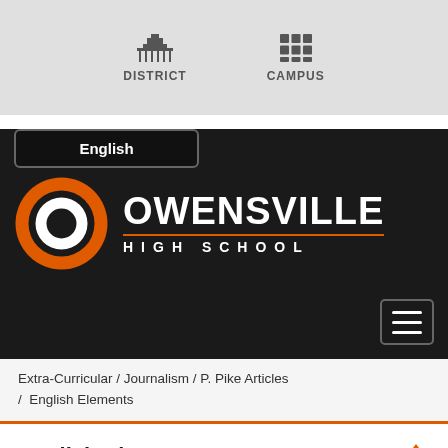DISTRICT   CAMPUS
[Figure (logo): Owensville High School logo with orange O and school name in white on dark background, with English language selector button and hamburger menu]
Extra-Curricular / Journalism / P. Pike Articles / English Elements
English Elements